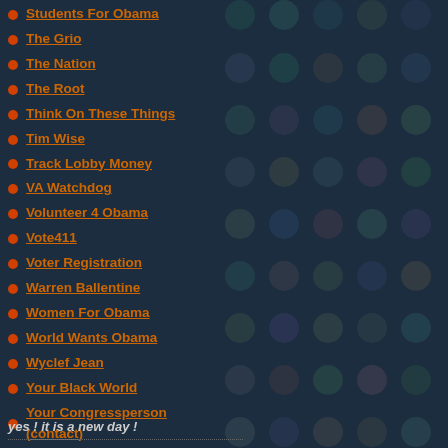Students For Obama
The Grio
The Nation
The Root
Think On These Things
Tim Wise
Track Lobby Money
VA Watchdog
Volunteer 4 Obama
Vote411
Voter Registration
Warren Ballentine
Women For Obama
World Wants Obama
Wyclef Jean
Your Black World
Your Congressperson (contact)
Your Senator (contact)
yes ! it is a new day !